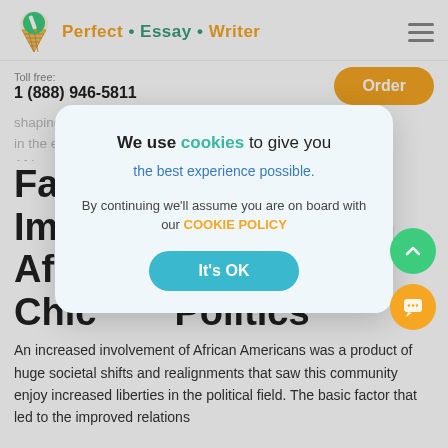Perfect • Essay • Writer
Toll free:
1 (888) 946-5811
shaping the politics through voting and direct participation in the election and appointment of leaders from the African A...
Factors to Improve African American Chicago Politics
We use cookies to give you the best experience possible. the best experience possible. By continuing we'll assume you are on board with our COOKIE POLICY
An increased involvement of African Americans was a product of huge societal shifts and realignments that saw this community enjoy increased liberties in the political field. The basic factor that led to the improved relations